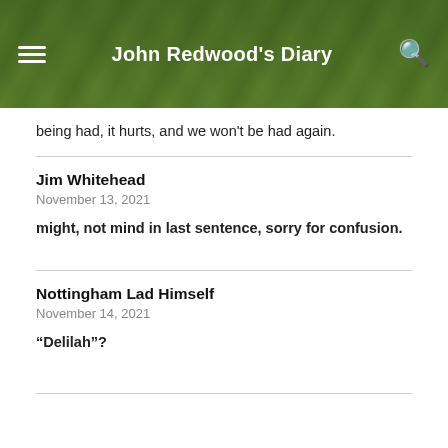John Redwood's Diary
being had, it hurts, and we won't be had again.
Jim Whitehead
November 13, 2021
might, not mind in last sentence, sorry for confusion.
Nottingham Lad Himself
November 14, 2021
“Delilah”?